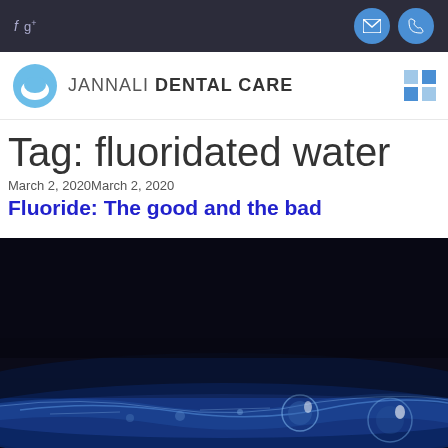f g+ [email icon] [phone icon]
[Figure (logo): Jannali Dental Care logo with blue circle icon and text]
Tag: fluoridated water
March 2, 2020March 2, 2020
Fluoride: The good and the bad
[Figure (photo): Dark close-up photograph of blue water surface with light reflections and bubbles]